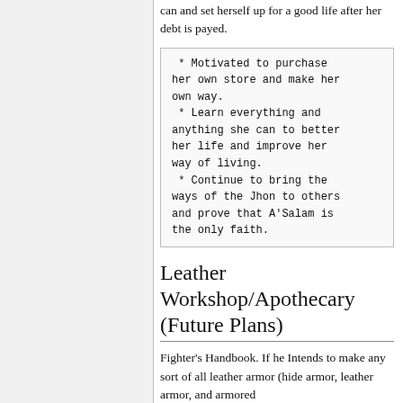can and set herself up for a good life after her debt is payed.
* Motivated to purchase her own store and make her own way.
* Learn everything and anything she can to better her life and improve her way of living.
* Continue to bring the ways of the Jhon to others and prove that A'Salam is the only faith.
Leather Workshop/Apothecary (Future Plans)
Fighter's Handbook. If he Intends to make any sort of all leather armor (hide armor, leather armor, and armored